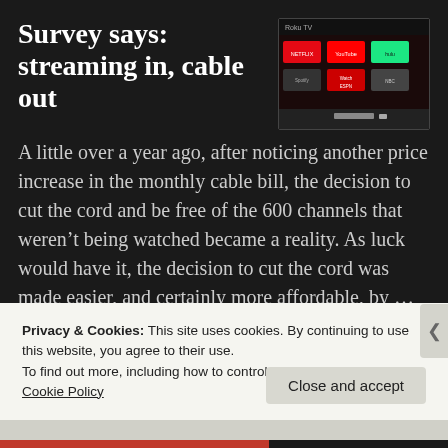Survey says: streaming in, cable out
[Figure (screenshot): A TV/streaming device screen showing streaming service logos including Netflix, YouTube, Hulu, Watch ESPN, and other channels on a dark interface.]
A little over a year ago, after noticing another price increase in the monthly cable bill, the decision to cut the cord and be free of the 600 channels that weren't being watched became a reality. As luck would have it, the decision to cut the cord was made easier, and certainly more affordable, by … Continue reading
Privacy & Cookies: This site uses cookies. By continuing to use this website, you agree to their use.
To find out more, including how to control cookies, see here: Cookie Policy
Close and accept